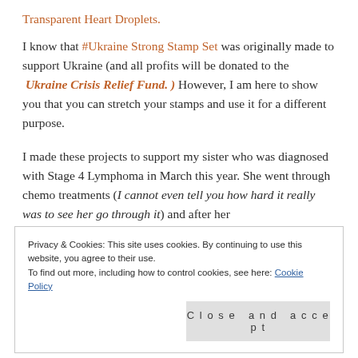Transparent Heart Droplets.
I know that #Ukraine Strong Stamp Set was originally made to support Ukraine (and all profits will be donated to the Ukraine Crisis Relief Fund. ) However, I am here to show you that you can stretch your stamps and use it for a different purpose.
I made these projects to support my sister who was diagnosed with Stage 4 Lymphoma in March this year. She went through chemo treatments (I cannot even tell you how hard it really was to see her go through it) and after her
Privacy & Cookies: This site uses cookies. By continuing to use this website, you agree to their use.
To find out more, including how to control cookies, see here: Cookie Policy